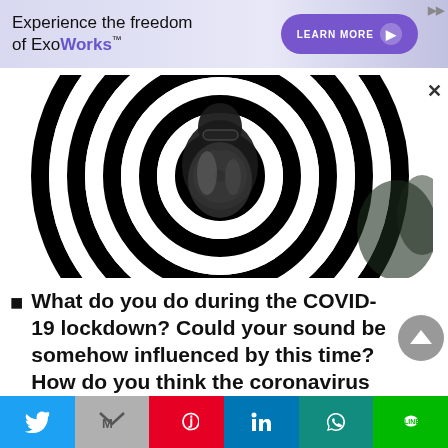[Figure (infographic): Advertisement banner for ExoWorks: text 'Experience the freedom of ExoWorks™' on lavender background with purple 'LEARN MORE' button]
[Figure (photo): Person in silver/metallic jacket and sunglasses standing in front of black and white spiral hypnotic backdrop]
What do you do during the COVID-19 lockdown? Could your sound be somehow influenced by this time? How do you think the coronavirus will impact the organization
[Figure (infographic): Social media share bar with Twitter, Email, Pinterest, LinkedIn, WhatsApp, and LINE buttons]